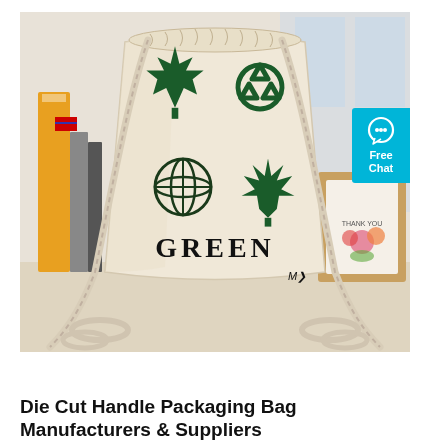[Figure (photo): A natural canvas drawstring backpack bag printed with green eco symbols (maple leaf, recycling symbol, globe, cannabis leaf) and the word GREEN, displayed on a wooden surface with books and a framed print in the background. A 'Free Chat' button overlay appears on the right side.]
Die Cut Handle Packaging Bag Manufacturers & Suppliers